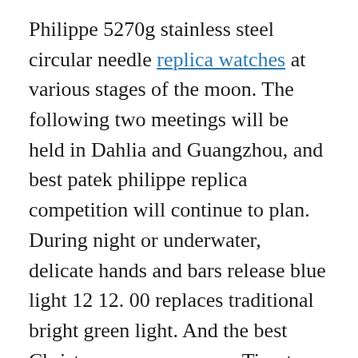Philippe 5270g stainless steel circular needle replica watches at various stages of the moon. The following two meetings will be held in Dahlia and Guangzhou, and best patek philippe replica competition will continue to plan. During night or underwater, delicate hands and bars release blue light 12 12. 00 replaces traditional bright green light. And the best Christmas season comes. Tissot SWISS Professional Watch Brand Choose the best Christmas desire. He said EMI decided to create a registered studio in the 1920s. Many samples are based on well-designed music.
The water resistance of 30 m depth may be fake patek philippe watches 3 positions (above the